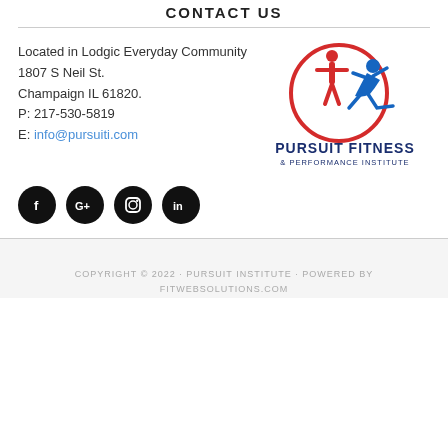CONTACT US
Located in Lodgic Everyday Community
1807 S Neil St.
Champaign IL 61820.
P: 217-530-5819
E: info@pursuiti.com
[Figure (logo): Pursuit Fitness & Performance Institute logo with a red circle containing a standing figure and a blue running figure, with text PURSUIT FITNESS & PERFORMANCE INSTITUTE below.]
[Figure (infographic): Four black circular social media icon buttons: Facebook (f), Google+ (G+), Instagram (camera icon), LinkedIn (in)]
COPYRIGHT © 2022 · PURSUIT INSTITUTE · POWERED BY FITWEBSOLUTIONS.COM